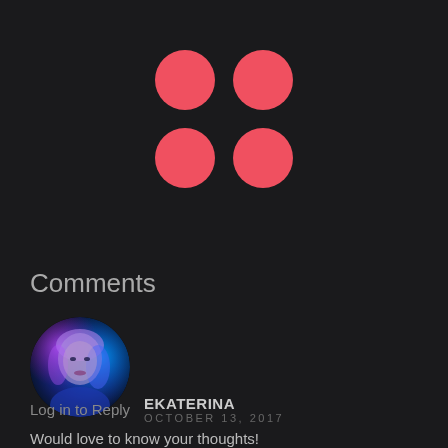[Figure (logo): Four red circles arranged in a 2x2 grid pattern, forming a logo on dark background]
Comments
[Figure (photo): Circular avatar photo of a woman with colorful pink and blue lighting]
Log in to Reply
EKATERINA
OCTOBER 13, 2017
Would love to know your thoughts!